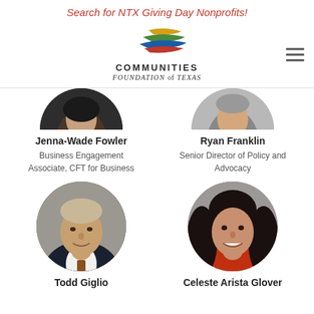Search for NTX Giving Day Nonprofits!
[Figure (logo): Communities Foundation of Texas logo with colorful swoosh graphic and organization name]
[Figure (photo): Partial circular headshot photo of Jenna-Wade Fowler (top half visible)]
Jenna-Wade Fowler
Business Engagement Associate, CFT for Business
[Figure (photo): Partial circular headshot photo of Ryan Franklin (top half visible)]
Ryan Franklin
Senior Director of Policy and Advocacy
[Figure (photo): Circular headshot photo of Todd Giglio, middle-aged man in dark suit]
Todd Giglio
[Figure (photo): Circular headshot photo of Celeste Arista Glover, young woman with long dark hair]
Celeste Arista Glover